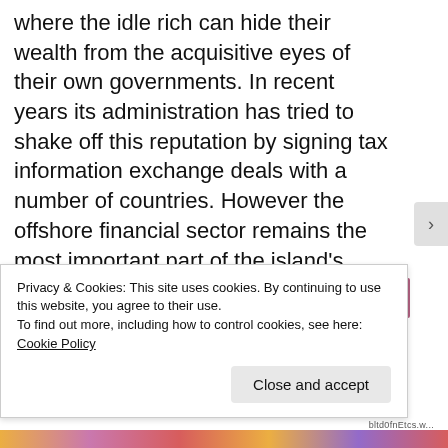where the idle rich can hide their wealth from the acquisitive eyes of their own governments. In recent years its administration has tried to shake off this reputation by signing tax information exchange deals with a number of countries. However the offshore financial sector remains the most important part of the island's economy, while tourism also makes a significant contribution.
[Figure (other): A horizontal gradient bar transitioning from dark blue on the left through purple to pink/mauve on the right, partially visible beneath the cookie consent banner.]
Privacy & Cookies: This site uses cookies. By continuing to use this website, you agree to their use.
To find out more, including how to control cookies, see here: Cookie Policy
Close and accept